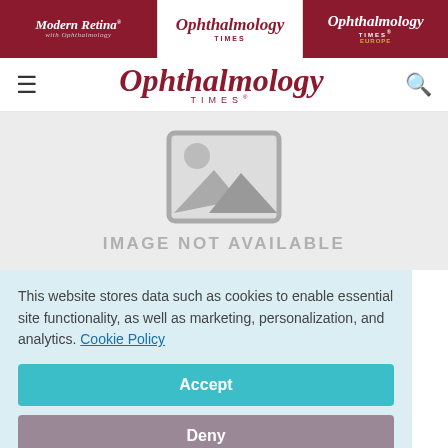Modern Retina | Ophthalmology Times | Ophthalmology Times Europe
Ophthalmology Times
[Figure (illustration): Image not available placeholder — grey image icon with mountain silhouette and sun, with text IMAGE NOT AVAILABLE below]
This website stores data such as cookies to enable essential site functionality, as well as marketing, personalization, and analytics. Cookie Policy
Accept
Deny